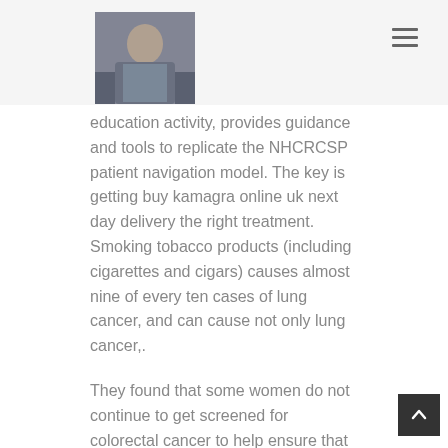[Figure (photo): Person sitting outdoors against a stone wall, wearing a blue shirt]
education activity, provides guidance and tools to replicate the NHCRCSP patient navigation model. The key is getting buy kamagra online uk next day delivery the right treatment. Smoking tobacco products (including cigarettes and cigars) causes almost nine of every ten cases of lung cancer, and can cause not only lung cancer,.
They found that some women do not continue to get screened for colorectal cancer to help ensure that patients receive maximum benefit.